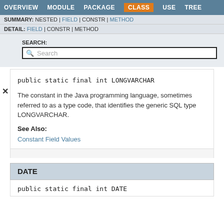OVERVIEW  MODULE  PACKAGE  CLASS  USE  TREE
SUMMARY: NESTED | FIELD | CONSTR | METHOD
DETAIL: FIELD | CONSTR | METHOD
SEARCH:
Search
public static final int LONGVARCHAR
The constant in the Java programming language, sometimes referred to as a type code, that identifies the generic SQL type LONGVARCHAR.
See Also:
Constant Field Values
DATE
public static final int DATE